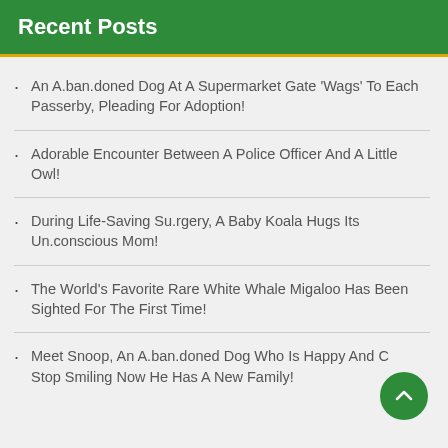Recent Posts
An A.ban.doned Dog At A Supermarket Gate 'Wags' To Each Passerby, Pleading For Adoption!
Adorable Encounter Between A Police Officer And A Little Owl!
During Life-Saving Su.rgery, A Baby Koala Hugs Its Un.conscious Mom!
The World's Favorite Rare White Whale Migaloo Has Been Sighted For The First Time!
Meet Snoop, An A.ban.doned Dog Who Is Happy And Can't Stop Smiling Now He Has A New Family!